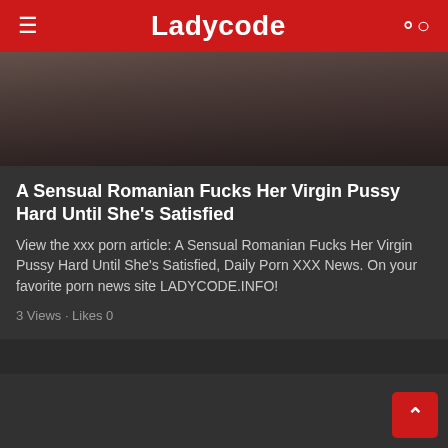Ladycode
[Figure (photo): Partial view of a person, cropped thumbnail image with dark background]
A Sensual Romanian Fucks Her Virgin Pussy Hard Until She's Satisfied
View the xxx porn article: A Sensual Romanian Fucks Her Virgin Pussy Hard Until She's Satisfied, Daily Porn XXX News. On your favorite porn news site LADYCODE.INFO!
3 Views · Likes 0
[Figure (photo): Dark placeholder image area for second article card]